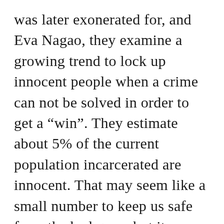was later exonerated for, and Eva Nagao, they examine a growing trend to lock up innocent people when a crime can not be solved in order to get a “win”. They estimate about 5% of the current population incarcerated are innocent. That may seem like a small number to keep us safe from the bad guys, but it literally amounts to over